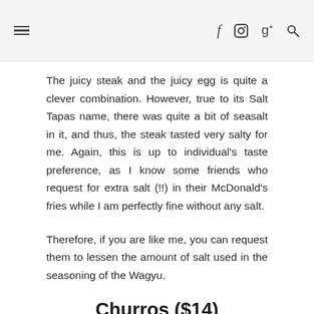≡  f  [instagram]  g+  [search]
The juicy steak and the juicy egg is quite a clever combination. However, true to its Salt Tapas name, there was quite a bit of seasalt in it, and thus, the steak tasted very salty for me. Again, this is up to individual's taste preference, as I know some friends who request for extra salt (!!) in their McDonald's fries while I am perfectly fine without any salt.
Therefore, if you are like me, you can request them to lessen the amount of salt used in the seasoning of the Wagyu.
Churros ($14)